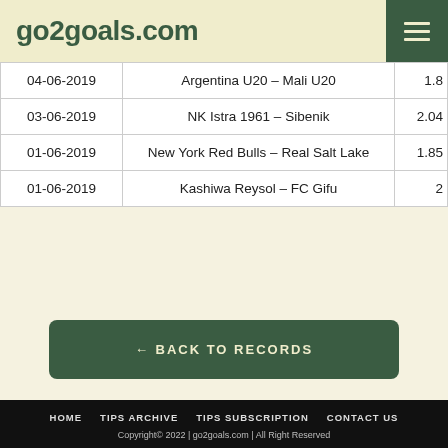go2goals.com
| Date | Match | Value |
| --- | --- | --- |
| 04-06-2019 | Argentina U20 - Mali U20 | 1.8 |
| 03-06-2019 | NK Istra 1961 - Sibenik | 2.04 |
| 01-06-2019 | New York Red Bulls - Real Salt Lake | 1.85 |
| 01-06-2019 | Kashiwa Reysol - FC Gifu | 2 |
← BACK TO RECORDS
HOME  TIPS ARCHIVE  TIPS SUBSCRIPTION  CONTACT US
Copyright© 2022 | go2goals.com | All Right Reserved